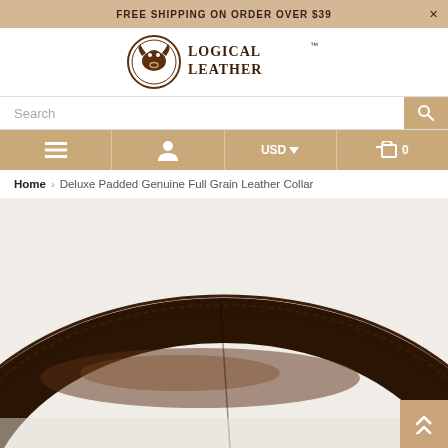FREE SHIPPING ON ORDER OVER $39
[Figure (logo): Logical Leather brand logo with bull head icon]
Search
Home › Deluxe Padded Genuine Full Grain Leather Collar
[Figure (photo): Close-up photo of a dark brown padded genuine full grain leather dog collar showing its curved padded profile against a white background]